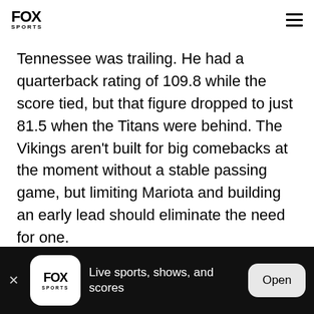FOX SPORTS
Tennessee was trailing. He had a quarterback rating of 109.8 while the score tied, but that figure dropped to just 81.5 when the Titans were behind. The Vikings aren't built for big comebacks at the moment without a stable passing game, but limiting Mariota and building an early lead should eliminate the need for one.
Live sports, shows, and scores | Open